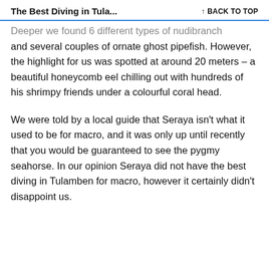The Best Diving in Tula... ↑ BACK TO TOP
Deeper we found 6 different types of nudibranch and several couples of ornate ghost pipefish. However, the highlight for us was spotted at around 20 meters – a beautiful honeycomb eel chilling out with hundreds of his shrimpy friends under a colourful coral head.
We were told by a local guide that Seraya isn't what it used to be for macro, and it was only up until recently that you would be guaranteed to see the pygmy seahorse. In our opinion Seraya did not have the best diving in Tulamben for macro, however it certainly didn't disappoint us.